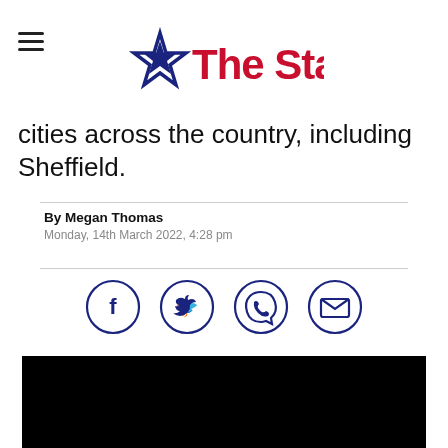The Star
cities across the country, including Sheffield.
By Megan Thomas
Monday, 14th March 2022, 4:28 pm
[Figure (infographic): Social share icons: Facebook, Twitter, WhatsApp, Email — dark navy circle outlines with corresponding symbols]
[Figure (photo): Black rectangle — video or image placeholder]